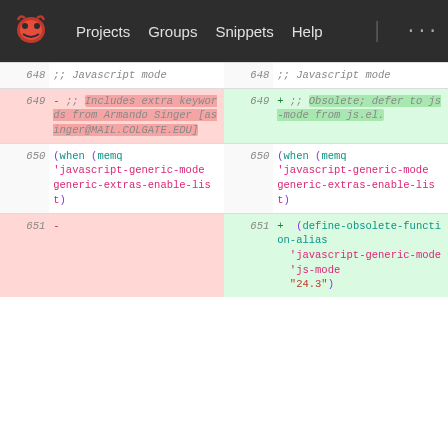[Figure (screenshot): GitLab navigation bar with logo, Projects, Groups, Snippets, Help links]
| line-old | code-old | line-new | code-new |
| --- | --- | --- | --- |
| 648 | ;; Javascript mode | 648 | ;; Javascript mode |
| 649 | - ;; Includes extra keywords from Armando Singer [asinger@MAIL.COLGATE.EDU] | 649 | + ;; Obsolete; defer to js-mode from js.el. |
| 650 | (when (memq 'javascript-generic-mode generic-extras-enable-list) | 650 | (when (memq 'javascript-generic-mode generic-extras-enable-list) |
| 651 | - | 651 | + (define-obsolete-function-alias 'javascript-generic-mode 'js-mode "24.3") |